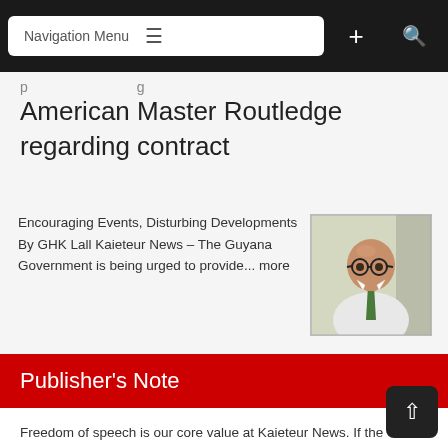Navigation Menu
American Master Routledge regarding contract
Encouraging Events, Disturbing Developments By GHK Lall Kaieteur News – The Guyana Government is being urged to provide... more
[Figure (photo): Portrait photo of an elderly bald man with glasses wearing a white shirt and green tie]
Publisher's Note
Freedom of speech is our core value at Kaieteur News. If the letter/e-mail you sent was not published, and you believe that its contents were not libellous, let us know, please contact us by phone or email.
Feel free to send us your comments and/or